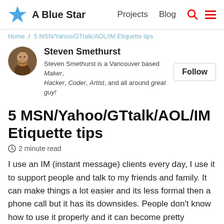A Blue Star  Projects  Blog
Home / 5 MSN/Yahoo/GTtalk/AOL/IM Etiquette tips
Steven Smethurst
Steven Smethurst is a Vancouver based Maker, Hacker, Coder, Artist, and all around great guy!
5 MSN/Yahoo/GTtalk/AOL/IM Etiquette tips
2 minute read
I use an IM (instant message) clients every day, I use it to support people and talk to my friends and family. It can make things a lot easier and its less formal then a phone call but it has its downsides. People don't know how to use it properly and it can become pretty annoying if use